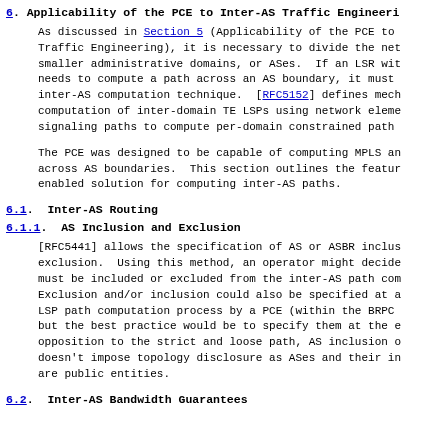6.  Applicability of the PCE to Inter-AS Traffic Engineering
As discussed in Section 5 (Applicability of the PCE to Traffic Engineering), it is necessary to divide the net smaller administrative domains, or ASes.  If an LSR wit needs to compute a path across an AS boundary, it must inter-AS computation technique.  [RFC5152] defines mech computation of inter-domain TE LSPs using network eleme signaling paths to compute per-domain constrained path
The PCE was designed to be capable of computing MPLS an across AS boundaries.  This section outlines the featur enabled solution for computing inter-AS paths.
6.1.  Inter-AS Routing
6.1.1.  AS Inclusion and Exclusion
[RFC5441] allows the specification of AS or ASBR inclus exclusion.  Using this method, an operator might decide must be included or excluded from the inter-AS path com Exclusion and/or inclusion could also be specified at a LSP path computation process by a PCE (within the BRPC but the best practice would be to specify them at the e opposition to the strict and loose path, AS inclusion o doesn't impose topology disclosure as ASes and their in are public entities.
6.2.  Inter-AS Bandwidth Guarantees